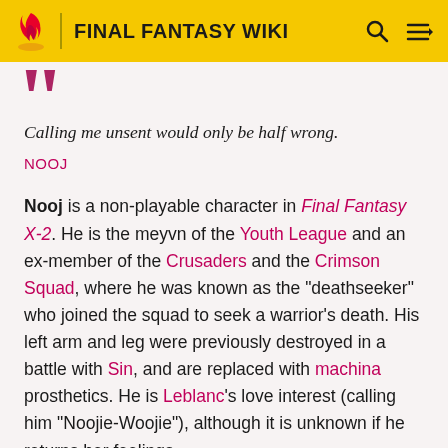FINAL FANTASY WIKI
Calling me unsent would only be half wrong.
NOOJ
Nooj is a non-playable character in Final Fantasy X-2. He is the meyvn of the Youth League and an ex-member of the Crusaders and the Crimson Squad, where he was known as the "deathseeker" who joined the squad to seek a warrior's death. His left arm and leg were previously destroyed in a battle with Sin, and are replaced with machina prosthetics. He is Leblanc's love interest (calling him "Noojie-Woojie"), although it is unknown if he returns her feelings.